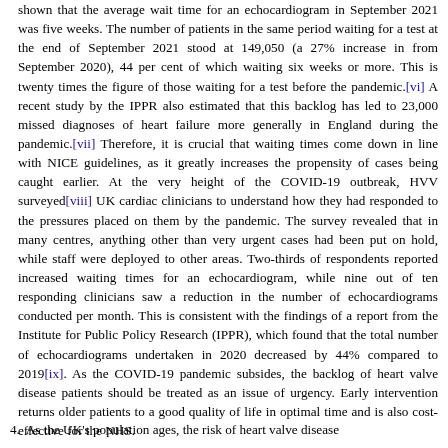shown that the average wait time for an echocardiogram in September 2021 was five weeks. The number of patients in the same period waiting for a test at the end of September 2021 stood at 149,050 (a 27% increase in from September 2020), 44 per cent of which waiting six weeks or more. This is twenty times the figure of those waiting for a test before the pandemic.[vi] A recent study by the IPPR also estimated that this backlog has led to 23,000 missed diagnoses of heart failure more generally in England during the pandemic.[vii] Therefore, it is crucial that waiting times come down in line with NICE guidelines, as it greatly increases the propensity of cases being caught earlier. At the very height of the COVID-19 outbreak, HVV surveyed[viii] UK cardiac clinicians to understand how they had responded to the pressures placed on them by the pandemic. The survey revealed that in many centres, anything other than very urgent cases had been put on hold, while staff were deployed to other areas. Two-thirds of respondents reported increased waiting times for an echocardiogram, while nine out of ten responding clinicians saw a reduction in the number of echocardiograms conducted per month. This is consistent with the findings of a report from the Institute for Public Policy Research (IPPR), which found that the total number of echocardiograms undertaken in 2020 decreased by 44% compared to 2019[ix]. As the COVID-19 pandemic subsides, the backlog of heart valve disease patients should be treated as an issue of urgency. Early intervention returns older patients to a good quality of life in optimal time and is also cost-effective for the NHS.
4. As the UK's population ages, the risk of heart valve disease